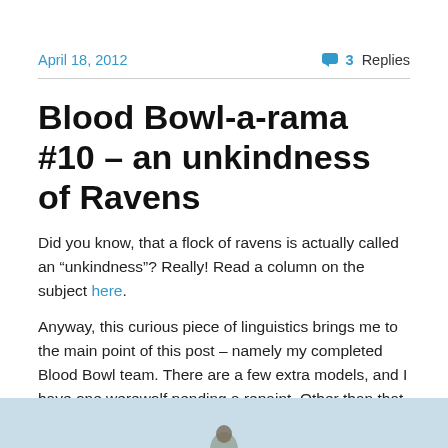April 18, 2012   3 Replies
Blood Bowl-a-rama #10 – an unkindness of Ravens
Did you know, that a flock of ravens is actually called an “unkindness”? Really! Read a column on the subject here.
Anyway, this curious piece of linguistics brings me to the main point of this post – namely my completed Blood Bowl team. There are a few extra models, and I have one werewolf pending a repaint. Other than that, here are the Drakwald Ravens in their gothic glory.
[Figure (photo): Partial image strip at the bottom of the page showing the beginning of a photo of Blood Bowl miniatures on a light blue/grey background.]